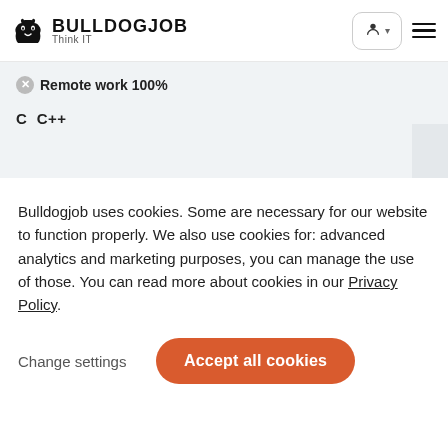BULLDOGJOB Think IT
Remote work 100%
C  C++
Bulldogjob uses cookies. Some are necessary for our website to function properly. We also use cookies for: advanced analytics and marketing purposes, you can manage the use of those. You can read more about cookies in our Privacy Policy.
Change settings
Accept all cookies